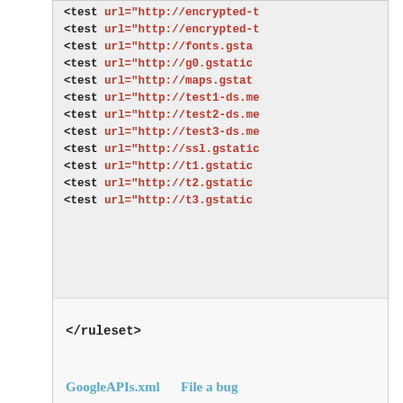[Figure (screenshot): Code box showing XML ruleset test elements with URLs (encrypted, fonts.gstatic, g0.gstatic, maps.gstatic, test1-ds, test2-ds, test3-ds, ssl.gstatic, t1.gstatic, t2.gstatic, t3.gstatic), followed by </ruleset> closing tag and links: GoogleAPIs.xml | File a bug]
The HTTPS Everywhere developers welcome corrections and updates to rules. Please see our developer information and documentation of the ruleset format. If filing a bug in the Tor Project's Trac bug tracker, you can use the shared username and password cypherpunks / writecode; please ensure that the bug is marked